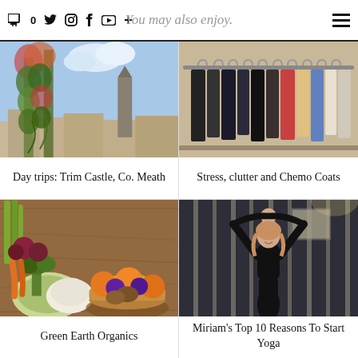You may also enjoy.
[Figure (photo): Floral arch with trailing greenery against a blue sky and church tower in background — Day trips: Trim Castle, Co. Meath]
Day trips: Trim Castle, Co. Meath
[Figure (photo): Clothes hanging on a rack with a variety of garments — Stress, clutter and Chemo Coats]
Stress, clutter and Chemo Coats
[Figure (photo): Fresh vegetables and fruit in bowls on a wooden surface — Green Earth Organics]
Green Earth Organics
[Figure (photo): Woman in black yoga outfit posing with arms raised above head in a studio with vertical panels — Miriam's Top 10 Reasons To Start Yoga]
Miriam's Top 10 Reasons To Start Yoga